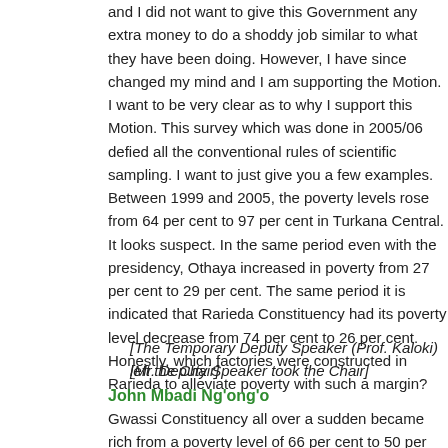and I did not want to give this Government any extra money to do a shoddy job similar to what they have been doing. However, I have since changed my mind and I am supporting the Motion. I want to be very clear as to why I support this Motion. This survey which was done in 2005/06 defied all the conventional rules of scientific sampling. I want to just give you a few examples. Between 1999 and 2005, the poverty levels rose from 64 per cent to 97 per cent in Turkana Central. It looks suspect. In the same period even with the presidency, Othaya increased in poverty from 27 per cent to 29 per cent. The same period it is indicated that Rarieda Constituency had its poverty level decrease from 74 per cent to 26 per cent. Honestly, which factories were constructed in Rarieda to alleviate poverty with such a margin?
[The Temporary Deputy Speaker (Prof. Kaloki) left the Chair]
[Mr. Deputy Speaker took the Chair]
John Mbadi Ng'ong'o
Gwassi Constituency all over a sudden became rich from a poverty level of 66 per cent to 50 per cent. Mr. Deputy Speaker, Sir, someone sat somewhere in an office and came up with these statistics. This is unacceptable. Even as we want to support this